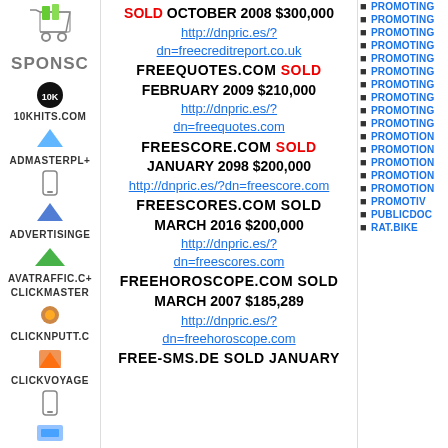[Figure (illustration): Shopping cart icon at top of left column]
SPONSC
10KHITS.COM
ADMASTERPL+
ADVERTISINGE
AVATRAFFIC.C+
CLICKMASTER
CLICKNPUTT.C
CLICKVOYAGE
DEEPSPA
SOLD OCTOBER 2008 $300,000
http://dnpric.es/?dn=freecreditreport.co.uk
FREEQUOTES.COM SOLD FEBRUARY 2009 $210,000
http://dnpric.es/?dn=freequotes.com
FREESCORE.COM SOLD JANUARY 2098 $200,000
http://dnpric.es/?dn=freescore.com
FREESCORES.COM SOLD MARCH 2016 $200,000
http://dnpric.es/?dn=freescores.com
FREEHOROSCOPE.COM SOLD MARCH 2007 $185,289
http://dnpric.es/?dn=freehoroscope.com
FREE-SMS.DE SOLD JANUARY
PROMOTING
PROMOTING
PROMOTING
PROMOTING
PROMOTING
PROMOTING
PROMOTING
PROMOTING
PROMOTING
PROMOTING
PROMOTION
PROMOTION
PROMOTION
PROMOTION
PROMOTION
PROMOTIV
PUBLICDOC
RAT.BIKE